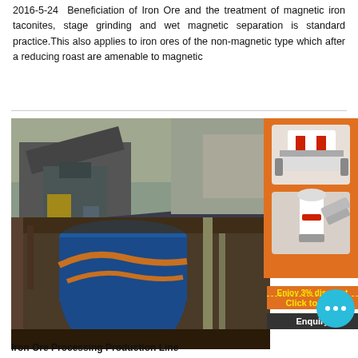2016-5-24  Beneficiation of Iron Ore and the treatment of magnetic iron taconites, stage grinding and wet magnetic separation is standard practice.This also applies to iron ores of the non-magnetic type which after a reducing roast are amenable to magnetic
[Figure (photo): Industrial mining/crushing machinery in a quarry or open pit mine setting, with large equipment and rocky terrain visible]
[Figure (photo): Iron ore processing industrial equipment including a large blue cylindrical vessel and overhead piping/structure]
Iron Ore Processing Production Line
[Figure (infographic): Right sidebar advertisement showing mining machinery, a chat bubble icon, 'Enjoy 3% discount', 'Click to Chat', and 'Enquiry' on an orange background]